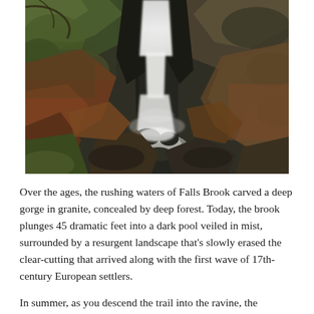[Figure (photo): A waterfall cascading down a rocky granite gorge surrounded by moss-covered boulders and reddish-brown leaf litter. The long-exposure photo shows the water as a silky white stream falling into a dark pool below. Dense forest and green moss cover the rocks.]
Over the ages, the rushing waters of Falls Brook carved a deep gorge in granite, concealed by deep forest. Today, the brook plunges 45 dramatic feet into a dark pool veiled in mist, surrounded by a resurgent landscape that's slowly erased the clear-cutting that arrived along with the first wave of 17th-century European settlers.
In summer, as you descend the trail into the ravine, the